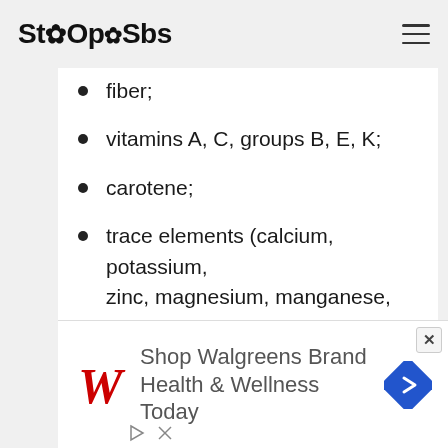StOpSbs
fiber;
vitamins A, C, groups B, E, K;
carotene;
trace elements (calcium, potassium, zinc, magnesium, manganese, iron, phosphorus, fluorine, sodium, copper, selenium);
folic acid;
polyunsaturated fatty acids;
[Figure (infographic): Walgreens advertisement banner: Walgreens red script W logo, text 'Shop Walgreens Brand Health & Wellness Today', blue diamond arrow icon, play and close icons at bottom left]